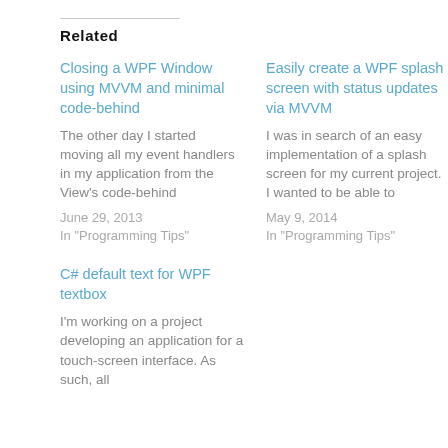Related
Closing a WPF Window using MVVM and minimal code-behind
The other day I started moving all my event handlers in my application from the View's code-behind
June 29, 2013
In "Programming Tips"
Easily create a WPF splash screen with status updates via MVVM
I was in search of an easy implementation of a splash screen for my current project. I wanted to be able to
May 9, 2014
In "Programming Tips"
C# default text for WPF textbox
I'm working on a project developing an application for a touch-screen interface.  As such, all